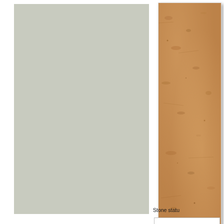[Figure (photo): Large pale sage/gray-green flat color panel occupying the left portion of the page]
[Figure (photo): Partial view of a stone statue surface showing sandy/orange-brown mottled stone texture, presented in a white-bordered photo frame with drop shadow]
Stone statu
[Figure (other): Partial bottom box outline visible at the very bottom right of the page]